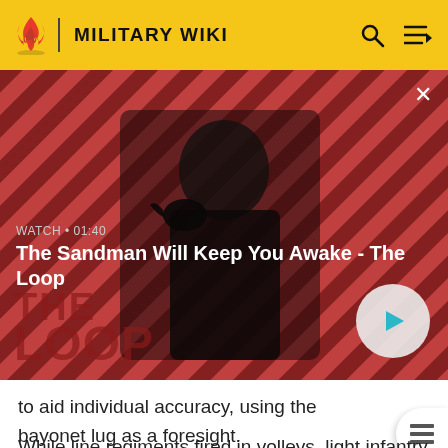MILITARY WIKI
[Figure (screenshot): Video thumbnail for 'The Sandman Will Keep You Awake - The Loop' showing a dark-cloaked figure with a raven on a red diagonal striped background. Overlaid text shows 'WATCH • 01:40' and the video title. A play button is visible on the right.]
to aid individual accuracy, using the bayonet lug as a foresight.
While line regiments fired in volleys, light infantry skirmishers fired at will, taking careful aim at targets.[17]